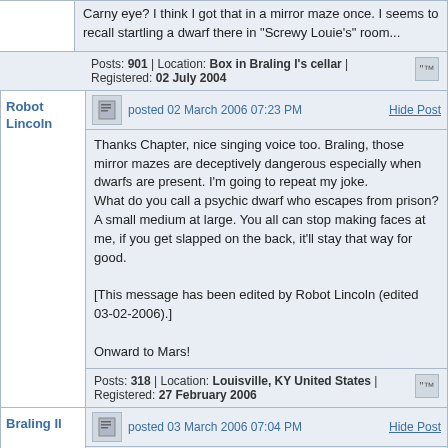Carny eye? I think I got that in a mirror maze once. I seems to recall startling a dwarf there in "Screwy Louie's" room...
Posts: 901 | Location: Box in Braling I's cellar | Registered: 02 July 2004
Robot Lincoln
posted 02 March 2006 07:23 PM
Hide Post
Thanks Chapter, nice singing voice too. Braling, those mirror mazes are deceptively dangerous especially when dwarfs are present. I'm going to repeat my joke.
What do you call a psychic dwarf who escapes from prison? A small medium at large. You all can stop making faces at me, if you get slapped on the back, it'll stay that way for good.

[This message has been edited by Robot Lincoln (edited 03-02-2006).]

Onward to Mars!
Posts: 318 | Location: Louisville, KY United States | Registered: 27 February 2006
Braling II
posted 03 March 2006 07:04 PM
Hide Post
By the way, have you met our, uh, son here?
Yes, the small blue pyramid...